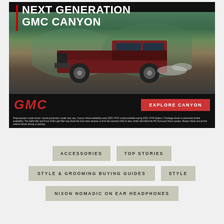[Figure (photo): GMC Canyon advertisement showing a dark red pickup truck driving on a mountain road with text 'NEXT GENERATION GMC CANYON', GMC logo, and 'EXPLORE CANYON' button. Fine print disclaimer text at bottom.]
ACCESSORIES
TOP STORIES
STYLE & GROOMING BUYING GUIDES
STYLE
NIXON NOMADIC ON EAR HEADPHONES